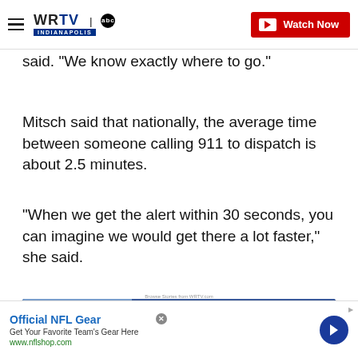WRTV Indianapolis | Watch Now
said. "We know exactly where to go."
Mitsch said that nationally, the average time between someone calling 911 to dispatch is about 2.5 minutes.
"When we get the alert within 30 seconds, you can imagine we would get there a lot faster," she said.
Browse Stories from WRTV.com
[Figure (screenshot): Video player showing WRTV Top Videos section with NEWS AT 6:00 banner and WRTV logo, with a CLOSE button overlay]
[Figure (infographic): Advertisement banner for Official NFL Gear with link to nflshop.com and a circular blue arrow button]